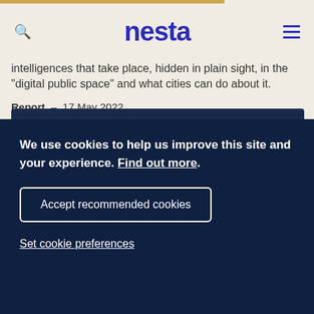nesta
intelligences that take place, hidden in plain sight, in the “digital public space” and what cities can do about it.
Report – 17 May 2022
About Nesta
Nesta is an innovation foundation. For us, innovation
We use cookies to help us improve this site and your experience. Find out more.
Accept recommended cookies
Set cookie preferences